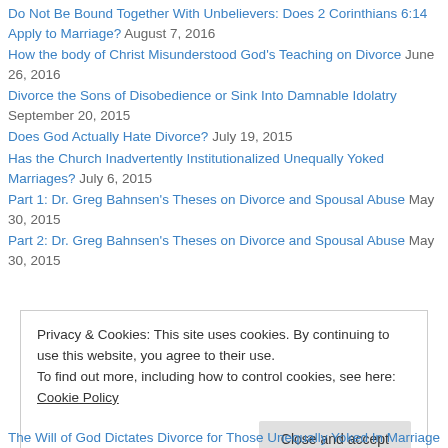Do Not Be Bound Together With Unbelievers: Does 2 Corinthians 6:14 Apply to Marriage? August 7, 2016
How the body of Christ Misunderstood God's Teaching on Divorce June 26, 2016
Divorce the Sons of Disobedience or Sink Into Damnable Idolatry September 20, 2015
Does God Actually Hate Divorce? July 19, 2015
Has the Church Inadvertently Institutionalized Unequally Yoked Marriages? July 6, 2015
Part 1: Dr. Greg Bahnsen's Theses on Divorce and Spousal Abuse May 30, 2015
Part 2: Dr. Greg Bahnsen's Theses on Divorce and Spousal Abuse May 30, 2015
Privacy & Cookies: This site uses cookies. By continuing to use this website, you agree to their use. To find out more, including how to control cookies, see here: Cookie Policy
The Will of God Dictates Divorce for Those Unequally Yoked In Marriage